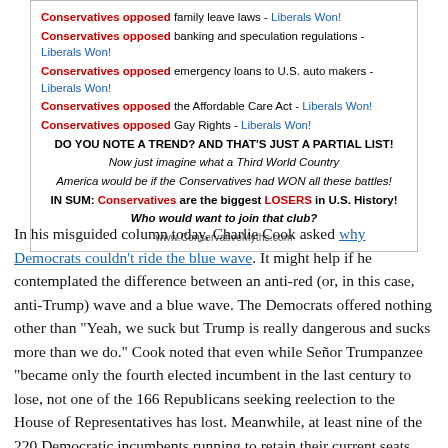[Figure (infographic): Image box with red/blue text listing political positions. 'Conservatives opposed' in red, followed by issue text, then 'Liberals Won!' in blue for each line. Ends with bold italic text about trend, third world country, and summary statement. Website: www.ConservativeMyths.com]
In his misguided column today, Charlie Cook asked why Democrats couldn't ride the blue wave. It might help if he contemplated the difference between an anti-red (or, in this case, anti-Trump) wave and a blue wave. The Democrats offered nothing other than "Yeah, we suck but Trump is really dangerous and sucks more than we do." Cook noted that even while Señor Trumpanzee "became only the fourth elected incumbent in the last century to lose, not one of the 166 Republicans seeking reelection to the House of Representatives has lost. Meanwhile, at least nine of the 220 Democratic incumbents running to retain their current seats lost, with five more in races that have not yet been called. The overall House outcome looks likely to be a net gain for